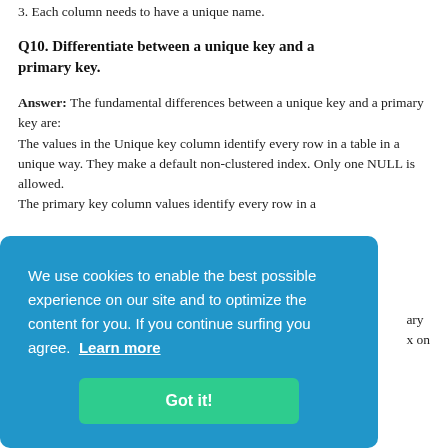3. Each column needs to have a unique name.
Q10. Differentiate between a unique key and a primary key.
Answer: The fundamental differences between a unique key and a primary key are:
The values in the Unique key column identify every row in a table in a unique way. They make a default non-clustered index. Only one NULL is allowed.
The primary key column values identify every row in a [...]ary [...] x on
We use cookies to enable the best possible experience on our site and to optimize the content for you. If you continue surfing you agree.  Learn more
Got it!